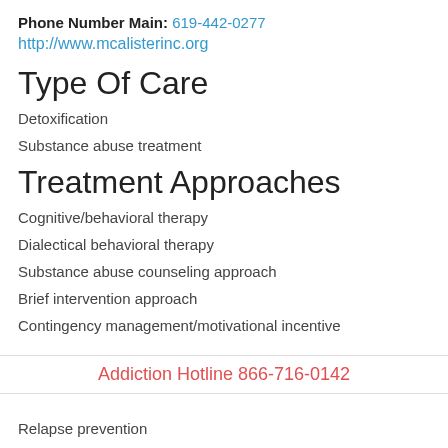Phone Number Main: 619-442-0277
http://www.mcalisterinc.org
Type Of Care
Detoxification
Substance abuse treatment
Treatment Approaches
Cognitive/behavioral therapy
Dialectical behavioral therapy
Substance abuse counseling approach
Brief intervention approach
Contingency management/motivational incentive
Addiction Hotline 866-716-0142
Relapse prevention